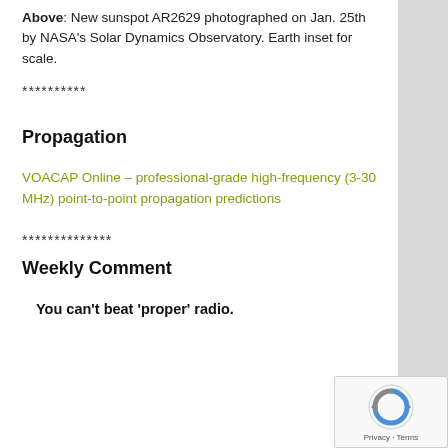Above: New sunspot AR2629 photographed on Jan. 25th by NASA's Solar Dynamics Observatory. Earth inset for scale.
**********
Propagation
VOACAP Online – professional-grade high-frequency (3-30 MHz) point-to-point propagation predictions
**************
Weekly Comment
You can't beat 'proper' radio.